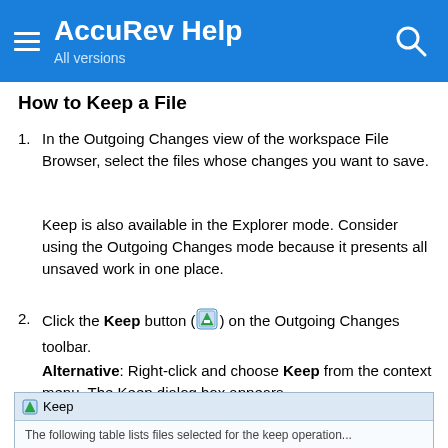AccuRev Help — All versions
How to Keep a File
1. In the Outgoing Changes view of the workspace File Browser, select the files whose changes you want to save.

Keep is also available in the Explorer mode. Consider using the Outgoing Changes mode because it presents all unsaved work in one place.
2. Click the Keep button on the Outgoing Changes toolbar.

Alternative: Right-click and choose Keep from the context menu. The Keep dialog box appears.
[Figure (screenshot): Keep dialog box window title bar showing 'Keep' label with icon, and partial content below reading 'The following table lists files selected for the keep operation...']